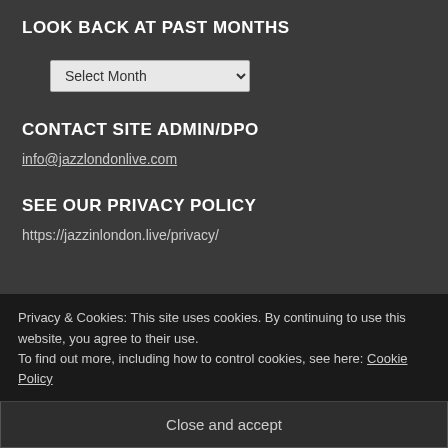LOOK BACK AT PAST MONTHS
[Figure (screenshot): A dropdown select widget labeled 'Select Month' with a chevron arrow on the right side]
CONTACT SITE ADMIN/DPO
info@jazzlondonlive.com
SEE OUR PRIVACY POLICY
https://jazzinlondon.live/privacy/
Privacy & Cookies: This site uses cookies. By continuing to use this website, you agree to their use.
To find out more, including how to control cookies, see here: Cookie Policy
Close and accept